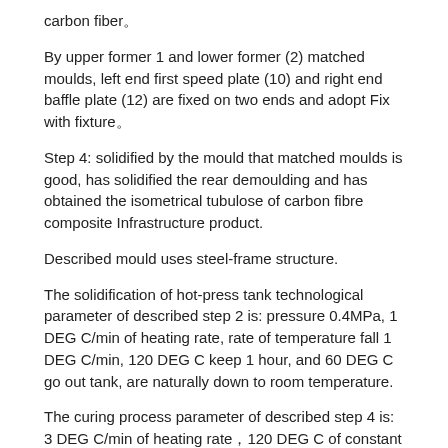carbon fiber。
By upper former 1 and lower former (2) matched moulds, left end first speed plate (10) and right end baffle plate (12) are fixed on two ends and adopt Fix with fixture。
Step 4: solidified by the mould that matched moulds is good, has solidified the rear demoulding and has obtained the isometrical tubulose of carbon fibre composite Infrastructure product.
Described mould uses steel-frame structure.
The solidification of hot-press tank technological parameter of described step 2 is: pressure 0.4MPa, 1 DEG C/min of heating rate, rate of temperature fall 1 DEG C/min, 120 DEG C keep 1 hour, and 60 DEG C go out tank, are naturally down to room temperature.
The curing process parameter of described step 4 is: 3 DEG C/min of heating rate。1​20 DEG C of constant temperature keep 1 hour。Cooling speed 3 DEG C/min of rate, is cooled to 60 DEG C and goes out tank natural cooling, is cooled to room temperature and carries out the